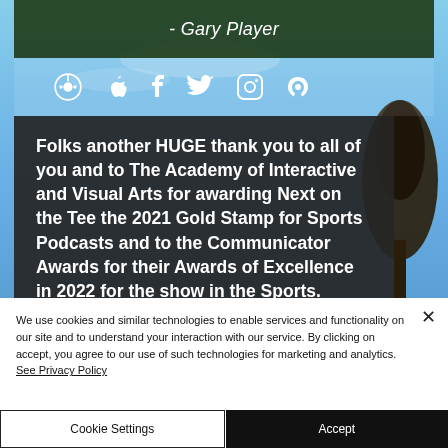- Gary Player
[Figure (screenshot): Social media icons: Spotify, Apple, Facebook, Twitter, Instagram, RSS]
Folks another HUGE thank you to all of you and to The Academy of Interactive and Visual Arts for awarding Next on the Tee the 2021 Gold Stamp for Sports Podcasts and to the Communicator Awards for their Awards of Excellence in 2022 for the show in the Sports.
We use cookies and similar technologies to enable services and functionality on our site and to understand your interaction with our service. By clicking on accept, you agree to our use of such technologies for marketing and analytics. See Privacy Policy
Cookie Settings
Accept